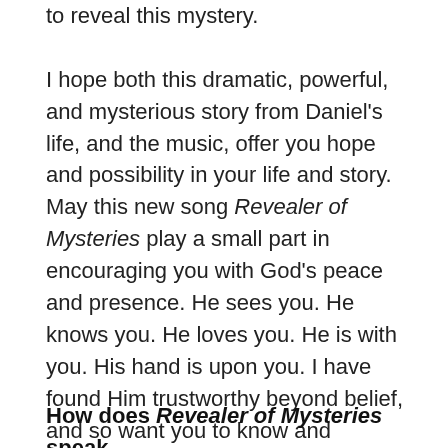to reveal this mystery. I hope both this dramatic, powerful, and mysterious story from Daniel's life, and the music, offer you hope and possibility in your life and story. May this new song Revealer of Mysteries play a small part in encouraging you with God's peace and presence. He sees you. He knows you. He loves you. He is with you. His hand is upon you. I have found Him trustworthy beyond belief, and so want you to know and experience His goodness and faithfulness in your life as well.
How does Revealer of Mysteries speak